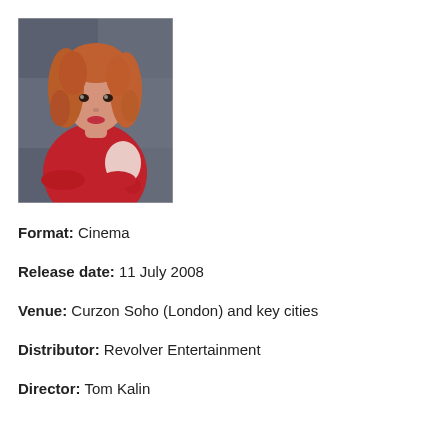[Figure (photo): A woman with red curly hair wearing a red top with white pattern, arms crossed, standing in what appears to be an indoor setting]
Format: Cinema
Release date: 11 July 2008
Venue: Curzon Soho (London) and key cities
Distributor: Revolver Entertainment
Director: Tom Kalin